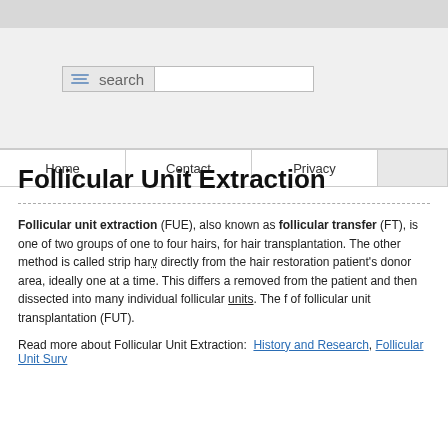search
Home | Contact | Privacy
Follicular Unit Extraction
Follicular unit extraction (FUE), also known as follicular transfer (FT), is one of two groups of one to four hairs, for hair transplantation. The other method is called strip har... directly from the hair restoration patient's donor area, ideally one at a time. This differs ... removed from the patient and then dissected into many individual follicular units. The f... of follicular unit transplantation (FUT).
Read more about Follicular Unit Extraction: History and Research, Follicular Unit Surv...